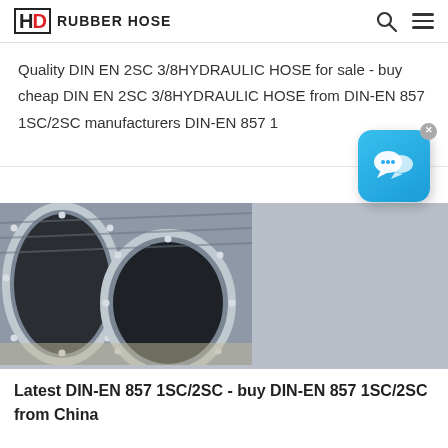HD RUBBER HOSE
Quality DIN EN 2SC 3/8HYDRAULIC HOSE for sale - buy cheap DIN EN 2SC 3/8HYDRAULIC HOSE from DIN-EN 857 1SC/2SC manufacturers DIN-EN 857 1
[Figure (photo): Three large industrial rubber hoses with metal flanges, viewed from the open ends, showing dark interior bore and silver bolt-hole flanges. Hoses have spiral reinforcement visible on the exterior.]
Latest DIN-EN 857 1SC/2SC - buy DIN-EN 857 1SC/2SC from China